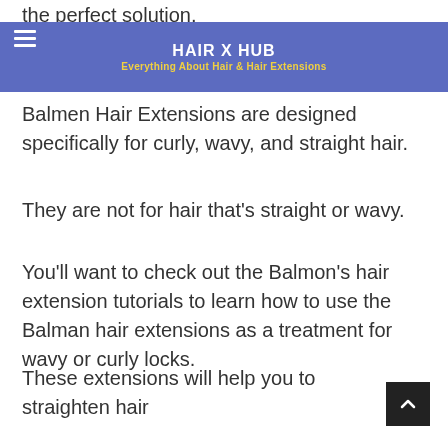the perfect solution.
HAIR X HUB
Everything About Hair & Hair Extensions
Balmen Hair Extensions are designed specifically for curly, wavy, and straight hair.
They are not for hair that’s straight or wavy.
You’ll want to check out the Balmon’s hair extension tutorials to learn how to use the Balman hair extensions as a treatment for wavy or curly locks.
The Balmain Balmain Cures hair Extensions are a great option for hair issues such as frizz, shine, or straightening.
These extensions will help you to straighten hair